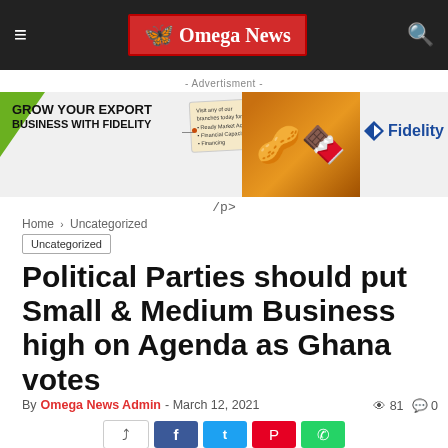Omega News
[Figure (illustration): Fidelity Bank advertisement: Grow Your Export Business With Fidelity, showing nuts/chocolate and tag with trade finance options]
- Advertisment -
/p>
Home › Uncategorized
Uncategorized
Political Parties should put Small & Medium Business high on Agenda as Ghana votes
By Omega News Admin - March 12, 2021  👁 81  💬 0